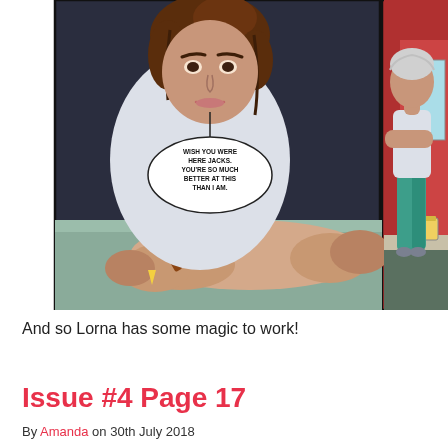[Figure (illustration): Comic page showing two panels: left panel features a woman with dark hair in a bun, wearing a white short-sleeved top, drawing or writing at a table with a pencil. She has a speech bubble saying 'WISH YOU WERE HERE JACKS. YOU'RE SO MUCH BETTER AT THIS THAN I AM.' Right panel shows a full-body view of a woman standing outdoors near a red building, wearing a white top and teal/green wide-leg pants, with a drink on a ledge nearby.]
And so Lorna has some magic to work!
Issue #4 Page 17
By Amanda on 30th July 2018